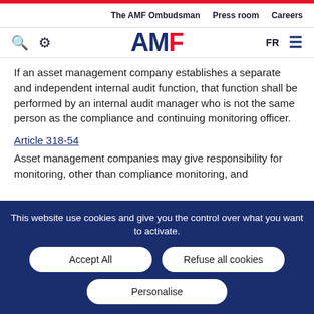The AMF Ombudsman   Press room   Careers
[Figure (logo): AMF logo with search icon, tools icon, language selector FR, and hamburger menu]
If an asset management company establishes a separate and independent internal audit function, that function shall be performed by an internal audit manager who is not the same person as the compliance and continuing monitoring officer.
Article 318-54
Asset management companies may give responsibility for monitoring, other than compliance monitoring, and
This website use cookies and give you the control over what you want to activate.
Accept All   Refuse all cookies   Personalise